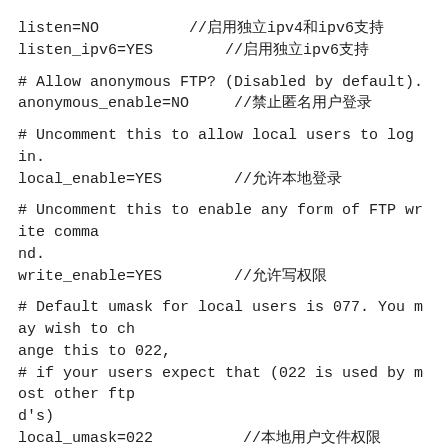listen=NO          //启用独立ipv4和ipv6支持
listen_ipv6=YES        //启用独立ipv6支持
# Allow anonymous FTP? (Disabled by default).
anonymous_enable=NO     //禁止匿名用户登录
# Uncomment this to allow local users to log in.
local_enable=YES        //允许本地登录
# Uncomment this to enable any form of FTP write command.
write_enable=YES        //允许写权限
# Default umask for local users is 077. You may wish to change this to 022,
# if your users expect that (022 is used by most other ftp d's)
local_umask=022          //本地用户文件权限
# Activate directory messages - messages given to remote users when they
# go into a certain directory.